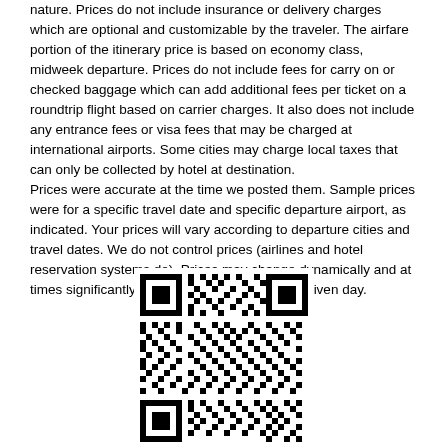nature. Prices do not include insurance or delivery charges which are optional and customizable by the traveler. The airfare portion of the itinerary price is based on economy class, midweek departure. Prices do not include fees for carry on or checked baggage which can add additional fees per ticket on a roundtrip flight based on carrier charges. It also does not include any entrance fees or visa fees that may be charged at international airports. Some cities may charge local taxes that can only be collected by hotel at destination.
Prices were accurate at the time we posted them. Sample prices were for a specific travel date and specific departure airport, as indicated. Your prices will vary according to departure cities and travel dates. We do not control prices (airlines and hotel reservation systems do). Prices may change dynamically and at times significantly numerous times during any given day.
[Figure (other): QR code image]